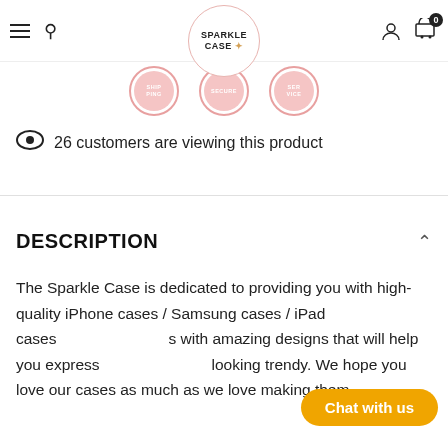Sparkle Case — navigation bar with hamburger, search, logo, user icon, cart (0)
[Figure (illustration): Three pink circular badge icons: SHIPPING, SECURE, SERVICE]
26 customers are viewing this product
DESCRIPTION
The Sparkle Case is dedicated to providing you with high-quality iPhone cases / Samsung cases / iPad cases with amazing designs that will help you express looking trendy. We hope you love our cases as much as we love making them.